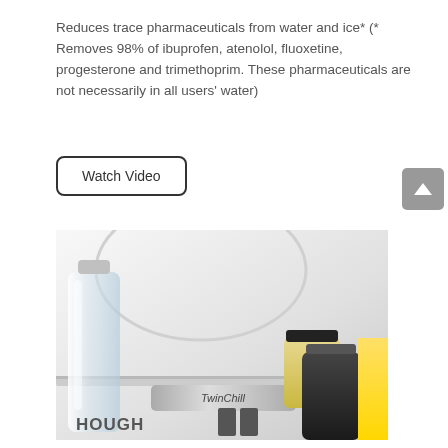Reduces trace pharmaceuticals from water and ice* (* Removes 98% of ibuprofen, atenolol, fluoxetine, progesterone and trimethoprim. These pharmaceuticals are not necessarily in all users' water)
Watch Video
[Figure (photo): Interior of a refrigerator showing a clear water bottle on the left, a TwinChill labeled shelf/dispenser unit in the middle, and various jars including one with a black lid containing a pale yellow substance and a dark jar, with partial HOUGH text visible at bottom left and a yellow item at bottom right.]